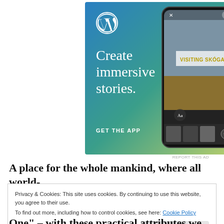[Figure (illustration): WordPress app advertisement with blue-to-yellow gradient background, WordPress circular logo in top left, large white serif text 'Create immersive stories.', 'GET THE APP' CTA in white, and a phone mockup on the right showing a travel blog post about Skógafoss waterfall]
REPORT THIS AD
A place for the whole mankind, where all world-
Privacy & Cookies: This site uses cookies. By continuing to use this website, you agree to their use.
To find out more, including how to control cookies, see here: Cookie Policy
Close and accept
One" – with these practical attributes we can live